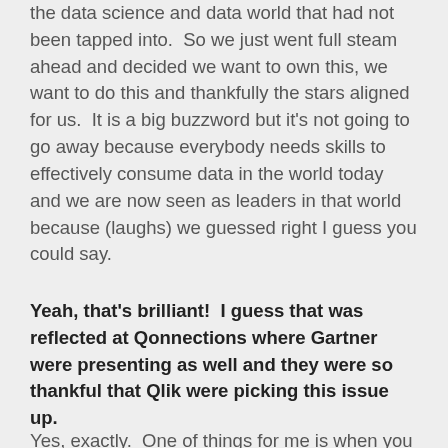the data science and data world that had not been tapped into.  So we just went full steam ahead and decided we want to own this, we want to do this and thankfully the stars aligned for us.  It is a big buzzword but it's not going to go away because everybody needs skills to effectively consume data in the world today and we are now seen as leaders in that world because (laughs) we guessed right I guess you could say.
Yeah, that's brilliant!  I guess that was reflected at Qonnections where Gartner were presenting as well and they were so thankful that Qlik were picking this issue up.
Yes, exactly.  One of things for me is when you start